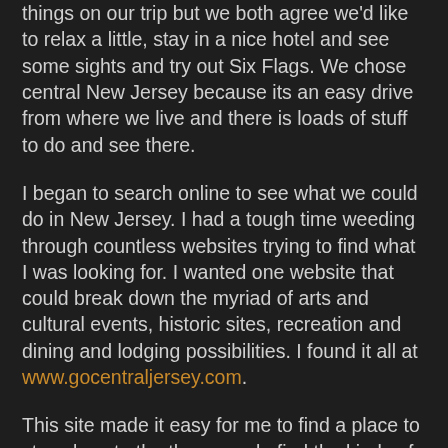things on our trip but we both agree we'd like to relax a little, stay in a nice hotel and see some sights and try out Six Flags. We chose central New Jersey because its an easy drive from where we live and there is loads of stuff to do and see there.
I began to search online to see what we could do in New Jersey. I had a tough time weeding through countless websites trying to find what I was looking for. I wanted one website that could break down the myriad of arts and cultural events, historic sites, recreation and dining and lodging possibilities. I found it all at www.gocentraljersey.com.
This site made it easy for me to find a place to stay close to the theme park, find the kinds of restuarants we like and search out some historic places we can visit, all with out breaking the bank. We picked out some Revolutionary War sites we'd like to see an easy ride from the hotel we chose just outside of Jackson. Colleen chose a very nice looking beach we can drive to in under a half hour.
I'm looking forward to this trip. Neither of us has ever been to New jersey and we were surprised to find the many very...